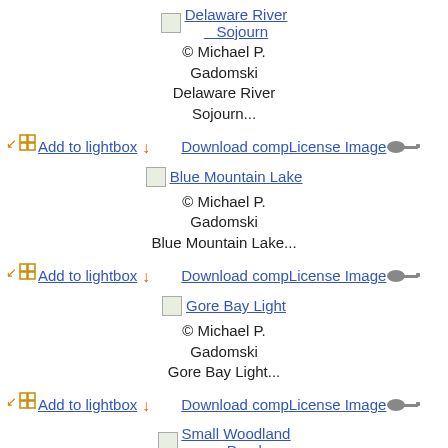[Figure (screenshot): Webpage listing of stock photo thumbnails with links, copyright credits, and action buttons for lightbox and download/license]
Delaware River Sojourn
© Michael P. Gadomski
Delaware River Sojourn...
Add to lightbox Download comp License Image
Blue Mountain Lake
© Michael P. Gadomski
Blue Mountain Lake...
Add to lightbox Download comp License Image
Gore Bay Light
© Michael P. Gadomski
Gore Bay Light...
Add to lightbox Download comp License Image
Small Woodland Pond
© Michael P.